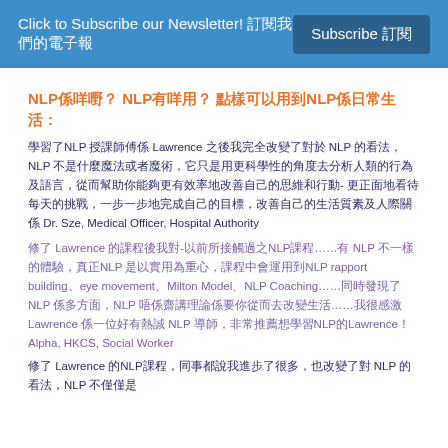Click to Subscribe our Newsletter! 訂閱我們的電子報  Subscribe 訂閱
NLP係咩嘢？ NLP有咩用？ 點樣可以用到NLP係日常生活：
學習了NLP 授課師傅係 Lawrence 之後我完全改變了對於 NLP 的看法，NLP 不是什麼魔法或者魔術，它只是用更科學性的角度去分析人類的行為及語言，從而幫助你能夠更有效率地改善自己的思維和行動- 更正面地看待每天的挑戰，一步一步地完成自己的目標，改善自己的生活質素及人際關係 Dr. Sze, Medical Officer, Hospital Authority
修了 Lawrence 的課程後我對-以前所接觸過之NLP課程……有 NLP 不一樣的體驗，真正NLP 是以實用為重心，課程中會運用到NLP rapport building、eye movement、Milton Model、NLP Coaching……同時發現了 NLP 係多方面，NLP 唔係齋講理論係要你從而去改變生活……我很感激 Lawrence 係一位好有熱誠 NLP 導師，非常推薦想學習NLP的Lawrence！Alpha, HKCS, Social Worker
修了 Lawrence 的NLP課程，同事都說我進步了很多，也改變了對 NLP 的看法，NLP 不僅僅是